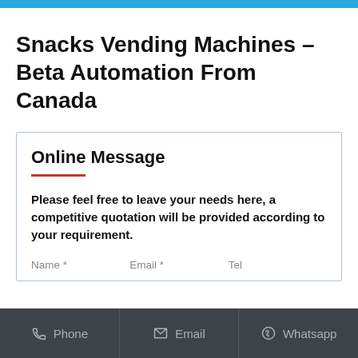Snacks Vending Machines – Beta Automation From Canada
Online Message
Please feel free to leave your needs here, a competitive quotation will be provided according to your requirement.
Name *    Email *    Tel
Phone    Email    Whatsapp